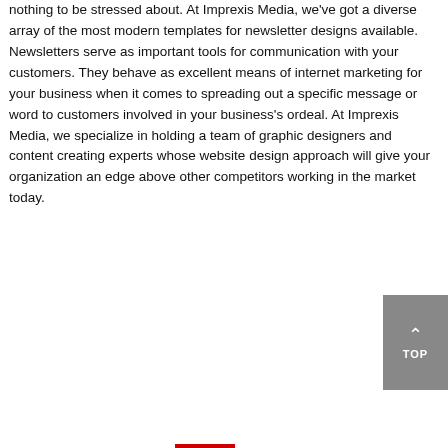nothing to be stressed about. At Imprexis Media, we've got a diverse array of the most modern templates for newsletter designs available. Newsletters serve as important tools for communication with your customers. They behave as excellent means of internet marketing for your business when it comes to spreading out a specific message or word to customers involved in your business's ordeal. At Imprexis Media, we specialize in holding a team of graphic designers and content creating experts whose website design approach will give your organization an edge above other competitors working in the market today.
Our Email Newsletter Design Services includes